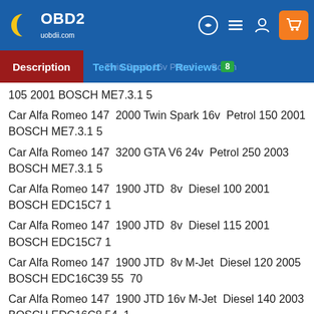OBD2 uobdii.com
Description | Tech Support | Reviews 8
105 2001 BOSCH ME7.3.1 5
Car Alfa Romeo 147  2000 Twin Spark 16v  Petrol 150 2001 BOSCH ME7.3.1 5
Car Alfa Romeo 147  3200 GTA V6 24v  Petrol 250 2003 BOSCH ME7.3.1 5
Car Alfa Romeo 147  1900 JTD  8v  Diesel 100 2001 BOSCH EDC15C7 1
Car Alfa Romeo 147  1900 JTD  8v  Diesel 115 2001 BOSCH EDC15C7 1
Car Alfa Romeo 147  1900 JTD  8v M-Jet  Diesel 120 2005 BOSCH EDC16C39 55  70
Car Alfa Romeo 147  1900 JTD 16v M-Jet  Diesel 140 2003 BOSCH EDC16C8 54  1
Car Alfa Romeo 147  1900 JTD 16v M-Jet  Diesel 150 2005 BOSCH EDC16C39 55  70
Car Alfa Romeo 147  1900 JTD 16v M-Jet  Diesel 170